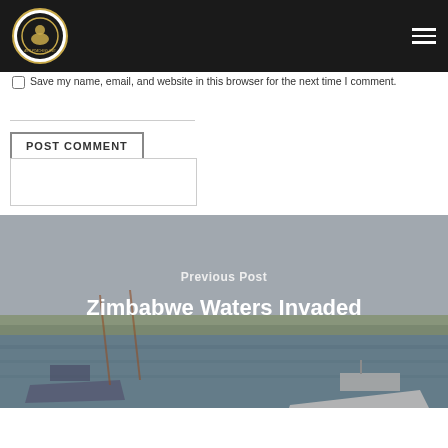Navigation bar with logo and hamburger menu
Save my name, email, and website in this browser for the next time I comment.
POST COMMENT
[Figure (photo): Outdoor water scene with boats including one labeled 'Anti-Poaching Patrol Boat', background shows shoreline with vegetation and sky.]
Previous Post
Zimbabwe Waters Invaded